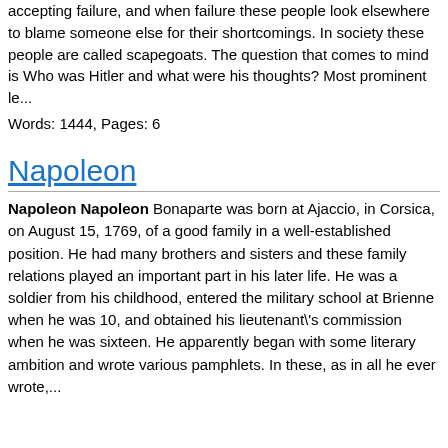accepting failure, and when failure these people look elsewhere to blame someone else for their shortcomings. In society these people are called scapegoats. The question that comes to mind is Who was Hitler and what were his thoughts? Most prominent le...
Words: 1444, Pages: 6
Napoleon
Napoleon Napoleon Bonaparte was born at Ajaccio, in Corsica, on August 15, 1769, of a good family in a well-established position. He had many brothers and sisters and these family relations played an important part in his later life. He was a soldier from his childhood, entered the military school at Brienne when he was 10, and obtained his lieutenant\'s commission when he was sixteen. He apparently began with some literary ambition and wrote various pamphlets. In these, as in all he ever wrote,...